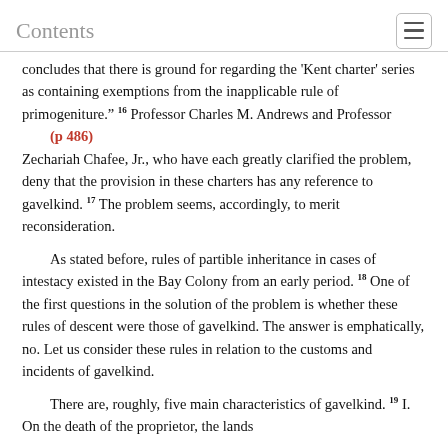Contents
concludes that there is ground for regarding the 'Kent charter' series as containing exemptions from the inapplicable rule of primogeniture." 16 Professor Charles M. Andrews and Professor (p 486) Zechariah Chafee, Jr., who have each greatly clarified the problem, deny that the provision in these charters has any reference to gavelkind. 17 The problem seems, accordingly, to merit reconsideration.
As stated before, rules of partible inheritance in cases of intestacy existed in the Bay Colony from an early period. 18 One of the first questions in the solution of the problem is whether these rules of descent were those of gavelkind. The answer is emphatically, no. Let us consider these rules in relation to the customs and incidents of gavelkind.
There are, roughly, five main characteristics of gavelkind. 19 I. On the death of the proprietor, the lands